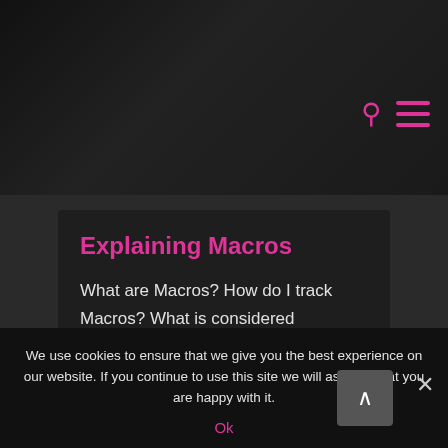[Figure (screenshot): Dark website header with background image, search icon and hamburger menu icon in pink/magenta color]
Explaining Macros
What are Macros? How do I track Macros? What is considered balanced Macros? Macros nutrients are Protein Fats Carbs Often people think carbs [...]
We use cookies to ensure that we give you the best experience on our website. If you continue to use this site we will assume that you are happy with it.
Ok